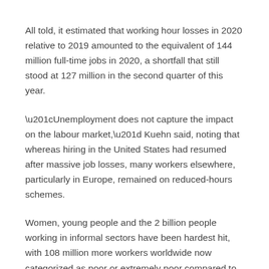All told, it estimated that working hour losses in 2020 relative to 2019 amounted to the equivalent of 144 million full-time jobs in 2020, a shortfall that still stood at 127 million in the second quarter of this year.
“Unemployment does not capture the impact on the labour market,” Kuehn said, noting that whereas hiring in the United States had resumed after massive job losses, many workers elsewhere, particularly in Europe, remained on reduced-hours schemes.
Women, young people and the 2 billion people working in informal sectors have been hardest hit, with 108 million more workers worldwide now categorized as poor or extremely poor compared to 2019, it said.
“Five years of progress towards the eradication of working poverty have been undone,” the report said.
This development will make the target by the UN Sustainable